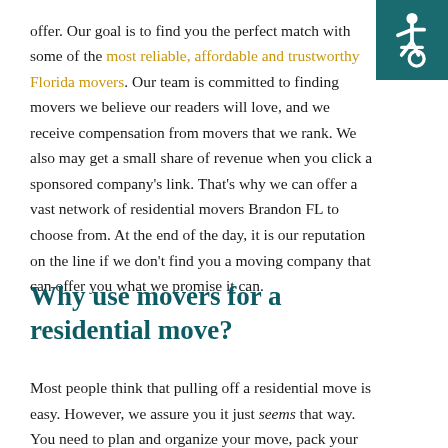offer. Our goal is to find you the perfect match with some of the most reliable, affordable and trustworthy Florida movers. Our team is committed to finding movers we believe our readers will love, and we receive compensation from movers that we rank. We also may get a small share of revenue when you click a sponsored company's link. That's why we can offer a vast network of residential movers Brandon FL to choose from. At the end of the day, it is our reputation on the line if we don't find you a moving company that can offer you what we promise it can.
[Figure (illustration): Accessibility wheelchair icon in teal/dark green square, top right corner]
Why use movers for a residential move?
Most people think that pulling off a residential move is easy. However, we assure you it just seems that way. You need to plan and organize your move, pack your